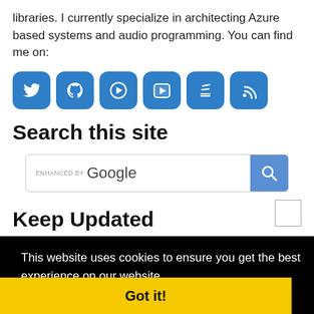libraries. I currently specialize in architecting Azure based systems and audio programming. You can find me on:
[Figure (infographic): Six blue rounded square social media icons: Twitter, GitHub, a play/podcast icon, YouTube, Stack Overflow, and RSS feed]
Search this site
[Figure (screenshot): Google search bar with 'ENHANCED BY Google' label and a blue search button with magnifying glass icon]
Keep Updated
This website uses cookies to ensure you get the best experience on our website. Learn more
Got it!